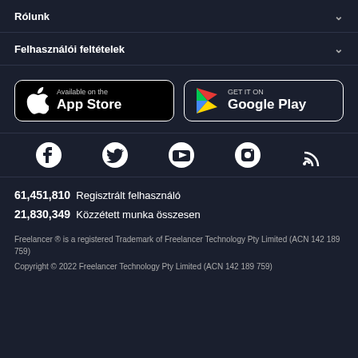Rólunk
Felhasználói feltételek
[Figure (screenshot): App Store and Google Play download buttons]
[Figure (infographic): Social media icons: Facebook, Twitter, YouTube, Instagram, RSS]
61,451,810  Regisztrált felhasználó
21,830,349  Közzétett munka összesen
Freelancer ® is a registered Trademark of Freelancer Technology Pty Limited (ACN 142 189 759)
Copyright © 2022 Freelancer Technology Pty Limited (ACN 142 189 759)